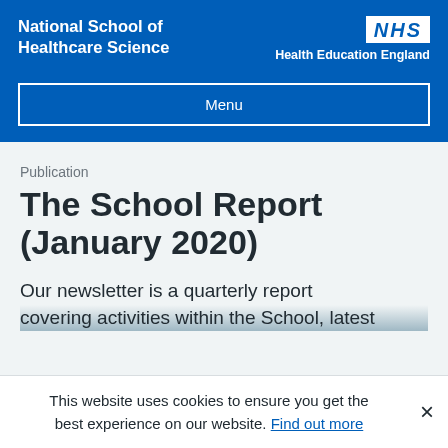National School of Healthcare Science | NHS Health Education England
Menu
Publication
The School Report (January 2020)
Our newsletter is a quarterly report covering activities within the School, latest
This website uses cookies to ensure you get the best experience on our website. Find out more